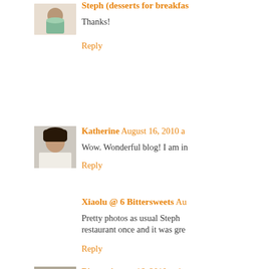Steph (desserts for breakfas...
Thanks!
Reply
[Figure (photo): Avatar of Katherine, woman with dark hair]
Katherine  August 16, 2010 a...
Wow. Wonderful blog! I am in...
Reply
Xiaolu @ 6 Bittersweets  Au...
Pretty photos as usual Steph... restaurant once and it was gre...
Reply
[Figure (photo): Avatar of Bianca, person with dark hair]
Bianca  August 16, 2010 at 1...
For someone who hasnt entert...
Reply
[Figure (logo): Blogger 'B' logo orange circle avatar for TwoCyclists]
TwoCyclists  August 17, 2010...
Stephanie -- just discovered ...